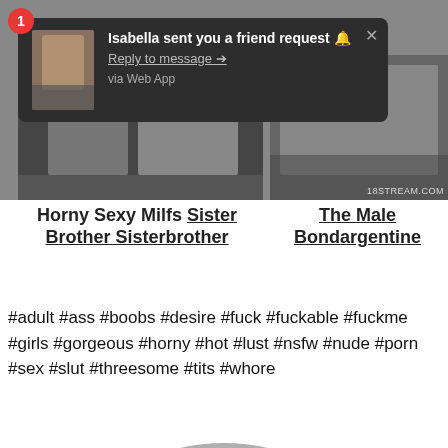[Figure (screenshot): Dark notification popup: 'Isabella sent you a friend request' with avatar image, Reply to message link, via Web App text, and X close button. Red badge with number 1.]
[Figure (photo): Left video thumbnail - blurred/dark photo]
[Figure (photo): Right video thumbnail with 18STREAM.COM watermark]
Horny Sexy Milfs Sister Brother Sisterbrother
The Male Bondargentine
#adult #ass #boobs #desire #fuck #fuckable #fuckme #girls #gorgeous #horny #hot #lust #nsfw #nude #porn #sex #slut #threesome #tits #whore
[Figure (illustration): Partial gray circle arc visible at bottom of page, representing a profile avatar placeholder]